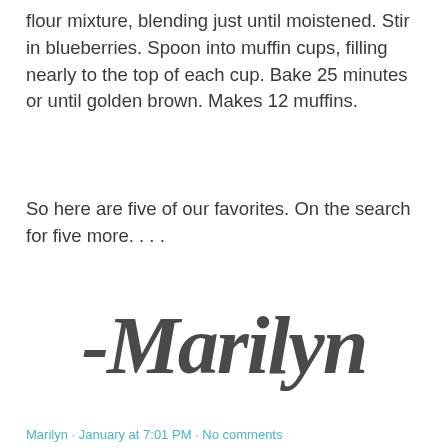flour mixture, blending just until moistened. Stir in blueberries. Spoon into muffin cups, filling nearly to the top of each cup. Bake 25 minutes or until golden brown. Makes 12 muffins.
So here are five of our favorites. On the search for five more. . . .
[Figure (illustration): Handwritten script signature reading '-Marilyn' in dark gray cursive font, centered on the page.]
Marilyn · January at 7:01 PM · No comments